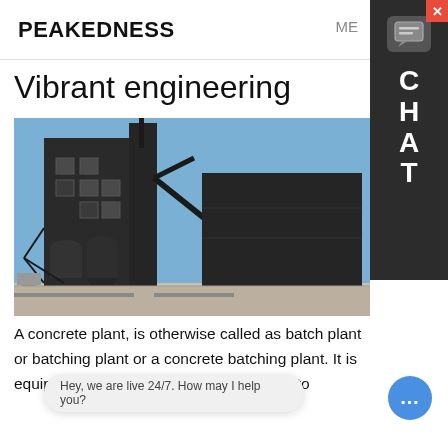PEAKEDNESS  ME...
Vibrant engineering
[Figure (photo): Industrial concrete batching plant with dark metal silos, conveyor towers, and large rectangular storage structures against a blue sky]
A concrete plant, is otherwise called as batch plant or batching plant or a concrete batching plant. It is equipped to combine various ingredients to make concrete. These inputs are water, air, admixtures, sand